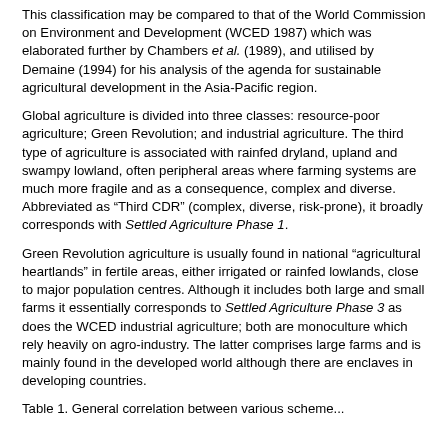This classification may be compared to that of the World Commission on Environment and Development (WCED 1987) which was elaborated further by Chambers et al. (1989), and utilised by Demaine (1994) for his analysis of the agenda for sustainable agricultural development in the Asia-Pacific region.
Global agriculture is divided into three classes: resource-poor agriculture; Green Revolution; and industrial agriculture. The third type of agriculture is associated with rainfed dryland, upland and swampy lowland, often peripheral areas where farming systems are much more fragile and as a consequence, complex and diverse. Abbreviated as “Third CDR” (complex, diverse, risk-prone), it broadly corresponds with Settled Agriculture Phase 1.
Green Revolution agriculture is usually found in national “agricultural heartlands” in fertile areas, either irrigated or rainfed lowlands, close to major population centres. Although it includes both large and small farms it essentially corresponds to Settled Agriculture Phase 3 as does the WCED industrial agriculture; both are monoculture which rely heavily on agro-industry. The latter comprises large farms and is mainly found in the developed world although there are enclaves in developing countries.
Table 1. General correlation between various scheme...